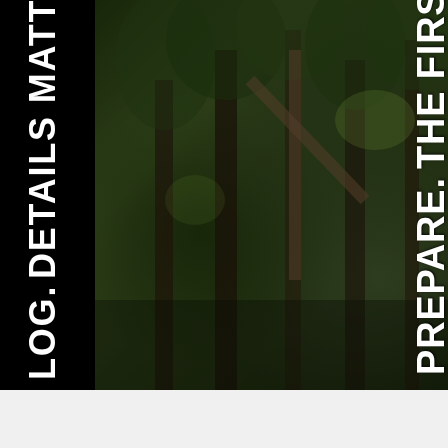[Figure (photo): Forest/trees background image with overlaid rotated white bold text reading: 'PREPARE. THE FIRST STEP. ONLY' and 'NEXT. YOU MUST SURVIVE. THE LEGAL AFTERMATH.' on the right side. Left black panel with rotated text 'LOG. DETAILS MATTER.' and body text about civil litigation.]
PREPARE. THE FIRST STEP. ONLY NEXT. YOU MUST SURVIVE. THE LEGAL AFTERMATH.
LOG. DETAILS MATTER.
UTION AND CIVIL LITIIGATION AFTER AN E THE AGGRESSOR. YOU STAND TO LOSE CURATELY DOCUMENTING YOUR TRAINING ONS OF CRIMINAL OR CIVIL MISCONDUCT.